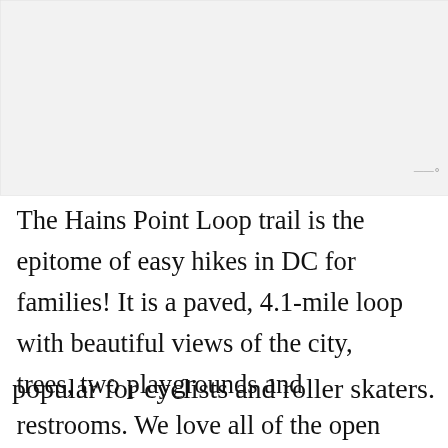[Figure (photo): Light gray placeholder area representing a photo at the top of the article page]
The Hains Point Loop trail is the epitome of easy hikes in DC for families! It is a paved, 4.1-mile loop with beautiful views of the city, trees, two playgrounds and restrooms. We love all of the open space for kids to roam in the grassy areas in the middle.
The hike itself is around the island of East Potomac Park. The full loop is 4.1 miles and is popular for cyclists and roller skaters.